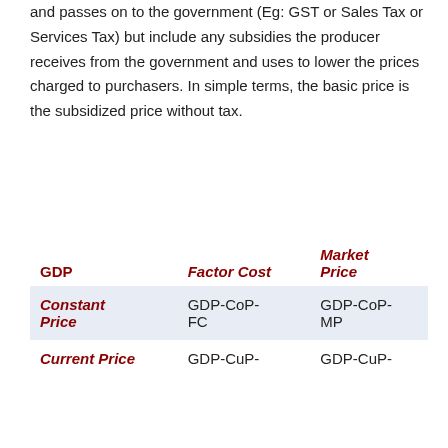and passes on to the government (Eg: GST or Sales Tax or Services Tax) but include any subsidies the producer receives from the government and uses to lower the prices charged to purchasers. In simple terms, the basic price is the subsidized price without tax.
| GDP | Factor Cost | Market Price |
| --- | --- | --- |
| Constant Price | GDP-CoP-FC | GDP-CoP-MP |
| Current Price | GDP-CuP- | GDP-CuP- |